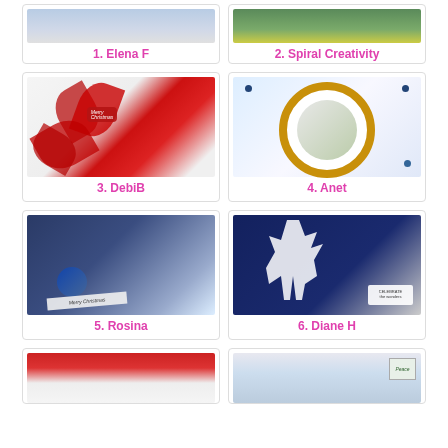[Figure (photo): Christmas card by Elena F, partially cropped at top]
1. Elena F
[Figure (photo): Christmas card by Spiral Creativity, partially cropped at top]
2. Spiral Creativity
[Figure (photo): White embossed Christmas card with red poinsettia flowers and Merry Christmas text by DebiB]
3. DebiB
[Figure (photo): Christmas card with snowman in circular gold frame with blue gems by Anet]
4. Anet
[Figure (photo): Christmas card with blue poinsettia and Merry Christmas banner by Rosina]
5. Rosina
[Figure (photo): Navy blue Christmas card with white reindeer die-cut and celebrate the wonders text by Diane H]
6. Diane H
[Figure (photo): Christmas card partially visible at bottom, red border by creator 7]
[Figure (photo): Christmas card with nativity scene and Peace text, partially visible at bottom]